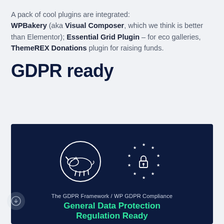A pack of cool plugins are integrated: WPBakery (aka Visual Composer, which we think is better than Elementor); Essential Grid Plugin – for eco galleries, ThemeREX Donations plugin for raising funds.
GDPR ready
[Figure (illustration): Dark navy background with a rhino logo in a circle outline (left) and a GDPR lock-stars badge (right). Text below reads: The GDPR Framework / WP GDPR Compliance. Title in green: General Data Protection Regulation Ready]